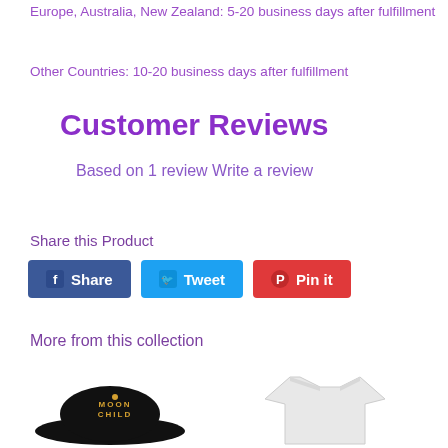Europe, Australia, New Zealand: 5-20 business days after fulfillment
Other Countries: 10-20 business days after fulfillment
Customer Reviews
Based on 1 review Write a review
Share this Product
[Figure (other): Social sharing buttons: Facebook Share, Twitter Tweet, Pinterest Pin it]
More from this collection
[Figure (photo): Product image of a black hat with Moon Child logo]
[Figure (photo): Product image of a white t-shirt]